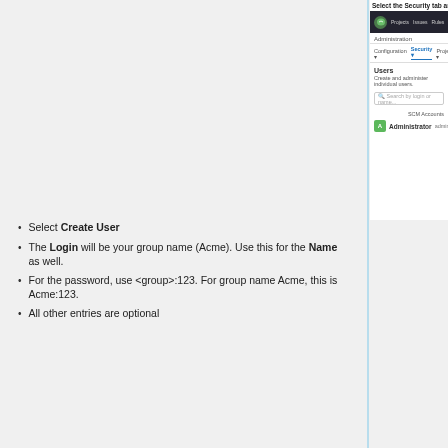[Figure (screenshot): Screenshot of SonarQube administration interface showing Security tab selected, Users section with search bar and Administrator user listed with SCM Accounts column visible.]
Select Create User
The Login will be your group name (Acme). Use this for the Name as well.
For the password, use <group>:123. For group name Acme, this is Acme:123.
All other entries are optional